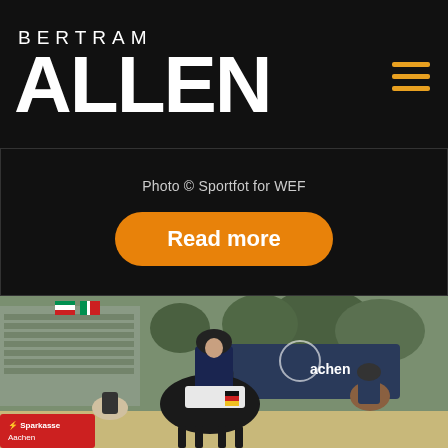BERTRAM ALLEN
Photo © Sportfot for WEF
Read more
[Figure (photo): Equestrian show jumping scene at Aachen, rider on dark horse in foreground wearing black helmet and navy jacket, stadium seating visible on left, Sparkasse Aachen sponsor banner visible, trees and other riders in background]